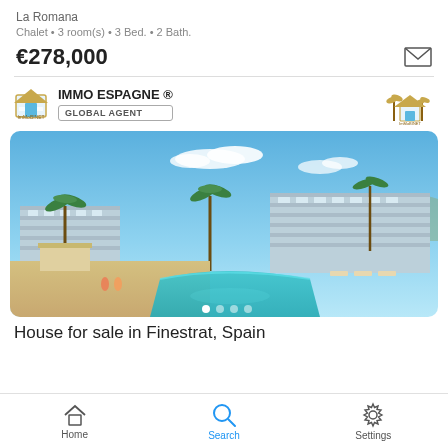La Romana
Chalet • 3 room(s) • 3 Bed. • 2 Bath.
€278,000
IMMO ESPAGNE ®
GLOBAL AGENT
[Figure (photo): Exterior rendering of a modern residential complex with swimming pool, palm trees, and blue sky]
House for sale in Finestrat, Spain
Home   Search   Settings